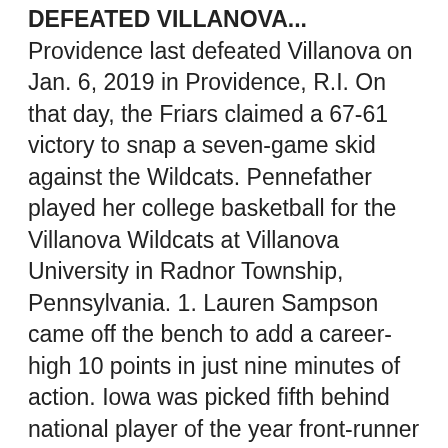DEFEATED VILLANOVA... Providence last defeated Villanova on Jan. 6, 2019 in Providence, R.I. On that day, the Friars claimed a 67-61 victory to snap a seven-game skid against the Wildcats. Pennefather played her college basketball for the Villanova Wildcats at Villanova University in Radnor Township, Pennsylvania. 1. Lauren Sampson came off the bench to add a career-high 10 points in just nine minutes of action. Iowa was picked fifth behind national player of the year front-runner Luka Garza, its highest preseason ranking in school history. Go To Coaching Staff. Maddy Siegrist surprised herself with a superb freshman season on the Villanova women's basketball team. She has dished 4+ assists in four of Providence's seven games, including a career-high six handouts in the Friars' victory over Butler (Dec. 5). Game Notes vs. Villanova (PDF) BEDN / FLOHOOPS; Live Stats; FRIARS CONTINUE THREE-